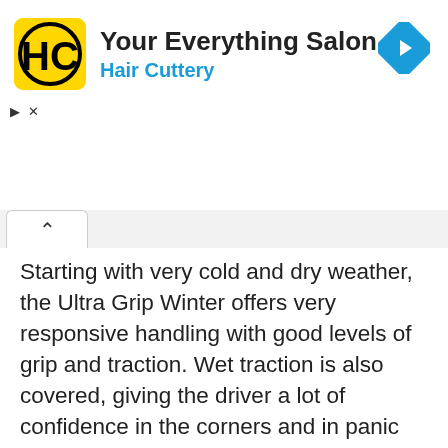[Figure (logo): Hair Cuttery advertisement banner with HC logo in yellow square, title 'Your Everything Salon', subtitle 'Hair Cuttery', and blue navigation diamond icon on the right]
Starting with very cold and dry weather, the Ultra Grip Winter offers very responsive handling with good levels of grip and traction. Wet traction is also covered, giving the driver a lot of confidence in the corners and in panic breaking. In the end, the Goodyear is excellent in both light and heavy snow, providing a lot of traction and braking power. While we're at it, you can also have good times on ice with a set of these tires – they are really that good.
In the end, the Ultra Grip Winter is also